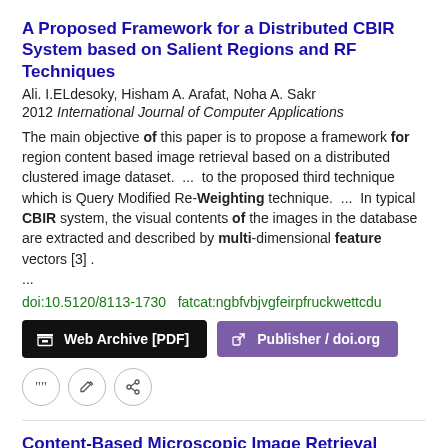A Proposed Framework for a Distributed CBIR System based on Salient Regions and RF Techniques
Ali. I.ELdesoky, Hisham A. Arafat, Noha A. Sakr
2012 International Journal of Computer Applications
The main objective of this paper is to propose a framework for region content based image retrieval based on a distributed clustered image dataset. ... to the proposed third technique which is Query Modified Re-Weighting technique. ... In typical CBIR system, the visual contents of the images in the database are extracted and described by multi-dimensional feature vectors [3] . ...
doi:10.5120/8113-1730 fatcat:ngbfvbjvgfeirpfruckwettcdu
Web Archive [PDF]
Publisher / doi.org
Content-Based Microscopic Image Retrieval System for Multi-Image Queries
H. C. Akakin, M. N. Gurcan